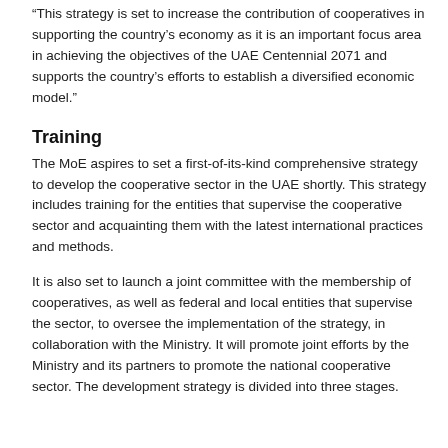“This strategy is set to increase the contribution of cooperatives in supporting the country’s economy as it is an important focus area in achieving the objectives of the UAE Centennial 2071 and supports the country’s efforts to establish a diversified economic model.”
Training
The MoE aspires to set a first-of-its-kind comprehensive strategy to develop the cooperative sector in the UAE shortly. This strategy includes training for the entities that supervise the cooperative sector and acquainting them with the latest international practices and methods.
It is also set to launch a joint committee with the membership of cooperatives, as well as federal and local entities that supervise the sector, to oversee the implementation of the strategy, in collaboration with the Ministry. It will promote joint efforts by the Ministry and its partners to promote the national cooperative sector. The development strategy is divided into three stages.